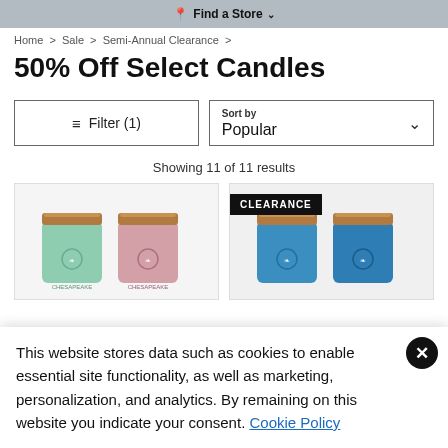Find a Store
Home > Sale > Semi-Annual Clearance >
50% Off Select Candles
Filter (1)   Sort by Popular
Showing 11 of 11 results
[Figure (photo): Two candle jars with wooden lids - one mint green and one pink, displayed in a product card without clearance badge]
[Figure (photo): Two candle jars with wooden lids - both blue, displayed in a product card with CLEARANCE badge]
This website stores data such as cookies to enable essential site functionality, as well as marketing, personalization, and analytics. By remaining on this website you indicate your consent. Cookie Policy